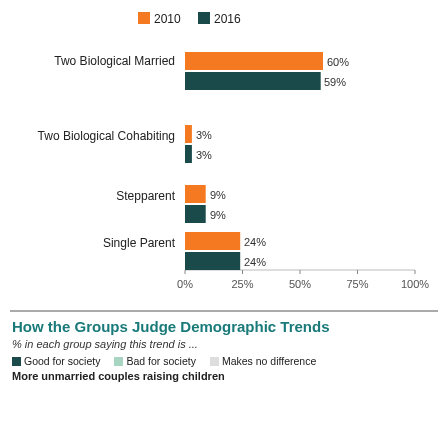[Figure (grouped-bar-chart): ]
How the Groups Judge Demographic Trends
% in each group saying this trend is ...
Good for society   Bad for society   Makes no difference
More unmarried couples raising children